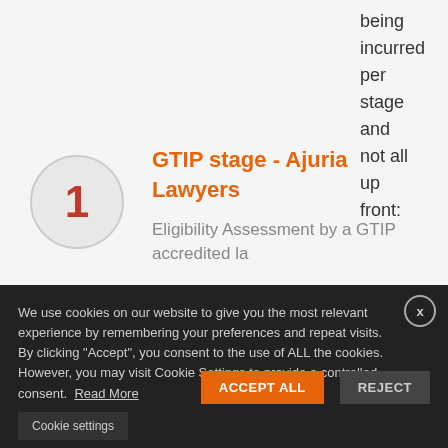being incurred per stage and not all up front:
GTIP stage - Ajuria Lawyers
Eligibility Assessment by a GTIP accredited lawyer
We use cookies on our website to give you the most relevant experience by remembering your preferences and repeat visits. By clicking "Accept", you consent to the use of ALL the cookies. However, you may visit Cookie Settings to provide a controlled consent. Read More
ACCEPT ALL
REJECT
Cookie settings